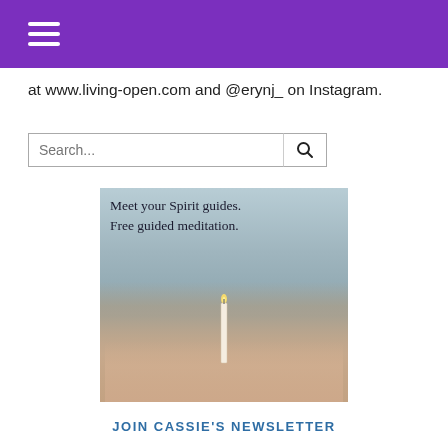Navigation header bar with hamburger menu
at www.living-open.com and @erynj_ on Instagram.
[Figure (other): Search bar with text input field labeled 'Search...' and a magnifying glass button]
[Figure (photo): Person holding a white candle with text overlay reading 'Meet your Spirit guides. Free guided meditation.']
JOIN CASSIE'S NEWSLETTER